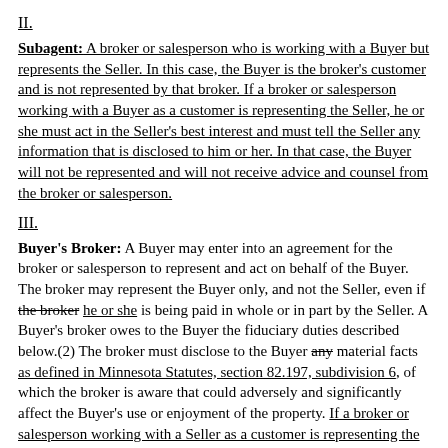II.
Subagent: A broker or salesperson who is working with a Buyer but represents the Seller. In this case, the Buyer is the broker's customer and is not represented by that broker. If a broker or salesperson working with a Buyer as a customer is representing the Seller, he or she must act in the Seller's best interest and must tell the Seller any information that is disclosed to him or her. In that case, the Buyer will not be represented and will not receive advice and counsel from the broker or salesperson.
III.
Buyer's Broker: A Buyer may enter into an agreement for the broker or salesperson to represent and act on behalf of the Buyer. The broker may represent the Buyer only, and not the Seller, even if the broker he or she is being paid in whole or in part by the Seller. A Buyer's broker owes to the Buyer the fiduciary duties described below.(2) The broker must disclose to the Buyer any material facts as defined in Minnesota Statutes, section 82.197, subdivision 6, of which the broker is aware that could adversely and significantly affect the Buyer's use or enjoyment of the property. If a broker or salesperson working with a Seller as a customer is representing the Buyer, he or she must act in the Buyer's best interest and must tell the Buyer any information